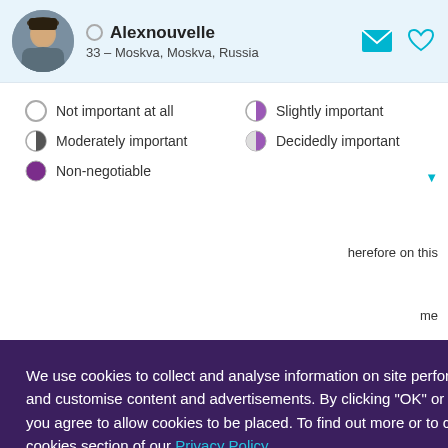[Figure (screenshot): Dating profile UI screenshot showing user Alexnouvelle, age 33, from Moskva, Russia, with profile photo, online status circle, message and heart icons]
Alexnouvelle
33 – Moskva, Moskva, Russia
Not important at all
Slightly important
Moderately important
Decidedly important
Non-negotiable
We use cookies to collect and analyse information on site performance and usage, and to enhance and customise content and advertisements. By clicking "OK" or clicking into any content on this site you agree to allow cookies to be placed. To find out more or to change your cookie settings, visit the cookies section of our Privacy Policy.
OK
herefore on this
me
ed to learn
positive